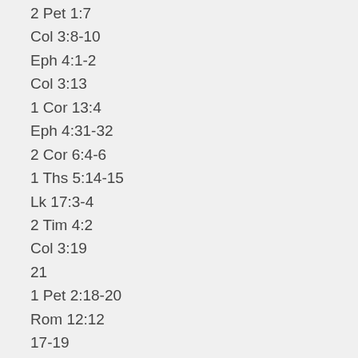2 Pet 1:7
Col 3:8-10
Eph 4:1-2
Col 3:13
1 Cor 13:4
Eph 4:31-32
2 Cor 6:4-6
1 Ths 5:14-15
Lk 17:3-4
2 Tim 4:2
Col 3:19
21
1 Pet 2:18-20
Rom 12:12
17-19
Col 3:1-2
12
Prov 14:29; 16:32